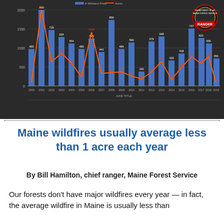[Figure (grouped-bar-chart): Maine Wildland Fires]
Maine wildfires usually average less than 1 acre each year
By Bill Hamilton, chief ranger, Maine Forest Service
Our forests don't have major wildfires every year — in fact, the average wildfire in Maine is usually less than